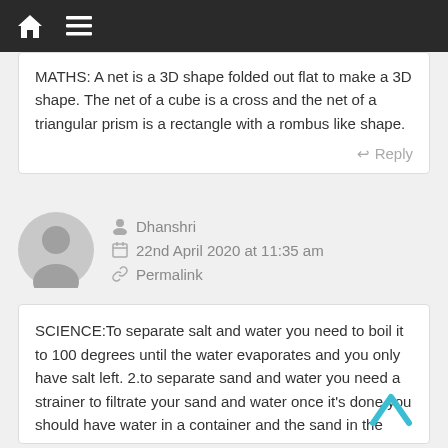Navigation bar with home and menu icons
MATHS: A net is a 3D shape folded out flat to make a 3D shape. The net of a cube is a cross and the net of a triangular prism is a rectangle with a rombus like shape.
Reply
Dhanshri
22nd April 2020 at 11:35 am
Permalink
SCIENCE:To separate salt and water you need to boil it to 100 degrees until the water evaporates and you only have salt left. 2.to separate sand and water you need a strainer to filtrate your sand and water once it's done you should have water in a container and the sand in the strainer.